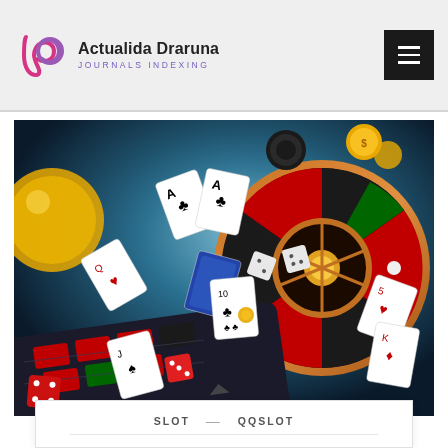Actualida Draruna — Journals Indexing
[Figure (photo): Casino gambling themed image showing flying playing cards, roulette wheel, dice, and casino chips on a smartphone roulette table surface against a dark blue background]
SLOT — QQSLOT